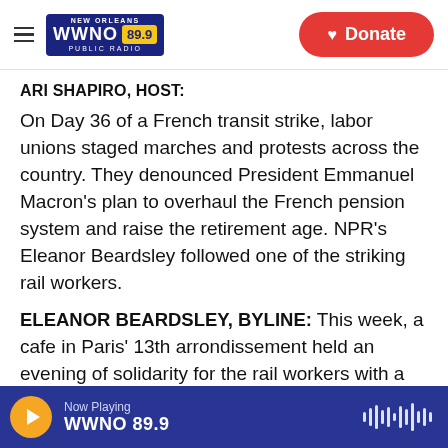WWNO 89.9 New Orleans Public Radio | Donate
ARI SHAPIRO, HOST:
On Day 36 of a French transit strike, labor unions staged marches and protests across the country. They denounced President Emmanuel Macron's plan to overhaul the French pension system and raise the retirement age. NPR's Eleanor Beardsley followed one of the striking rail workers.
ELEANOR BEARDSLEY, BYLINE: This week, a cafe in Paris' 13th arrondissement held an evening of solidarity for the rail workers with a live band. That's where I met 34-year-old Gauthier Tacchella, who
Now Playing WWNO 89.9